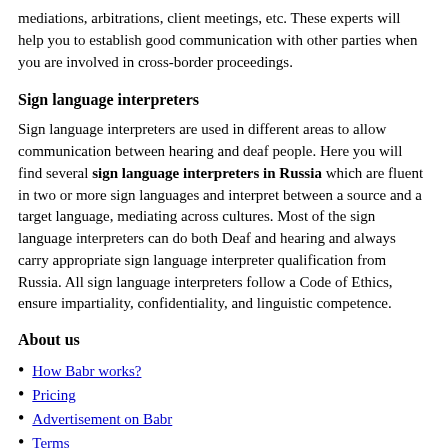mediations, arbitrations, client meetings, etc. These experts will help you to establish good communication with other parties when you are involved in cross-border proceedings.
Sign language interpreters
Sign language interpreters are used in different areas to allow communication between hearing and deaf people. Here you will find several sign language interpreters in Russia which are fluent in two or more sign languages and interpret between a source and a target language, mediating across cultures. Most of the sign language interpreters can do both Deaf and hearing and always carry appropriate sign language interpreter qualification from Russia. All sign language interpreters follow a Code of Ethics, ensure impartiality, confidentiality, and linguistic competence.
About us
How Babr works?
Pricing
Advertisement on Babr
Terms
Privacy